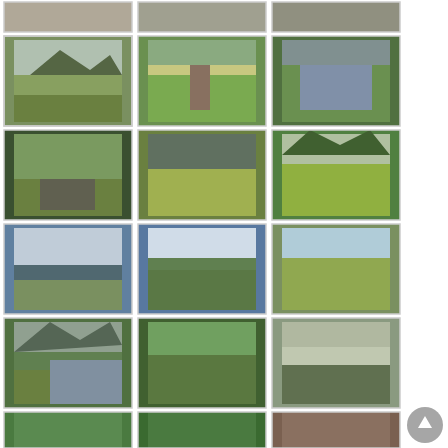[Figure (photo): Grid of outdoor/nature photographs showing Irish countryside, lakes, mountains, parks, horse carriage ride, river scenes, ruins, and one music shop interior - arranged in 3 columns x 6+ rows]
[Figure (other): Circular back-to-top button in bottom right corner]